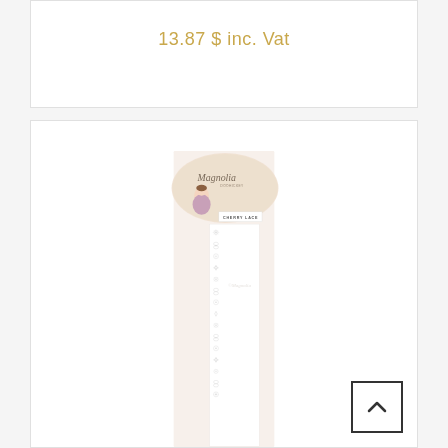13.87 $ inc. Vat
[Figure (photo): Product packaging for Magnolia Doohickey Cherry Lace rubber stamp set, showing a decorative lace border strip with floral/cherry blossom pattern on a white background, with the Magnolia brand label on top]
[Figure (other): Back-to-top navigation button with upward-pointing chevron arrow]